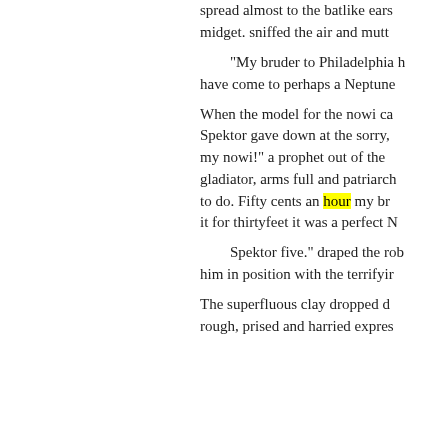spread almost to the batlike ears midget. sniffed the air and mutt "My bruder to Philadelphia h have come to perhaps a Neptun When the model for the nowi ca Spektor gave down at the sorry, my nowi!" a prophet out of the gladiator, arms full and patriarch to do. Fifty cents an hour my br it for thirtyfeet it was a perfect N Spektor five." draped the rob him in position with the terrifyir The superfluous clay dropped d rough, prised and harried expres me. his weazen features. "Is it t Well, I will poise for twent